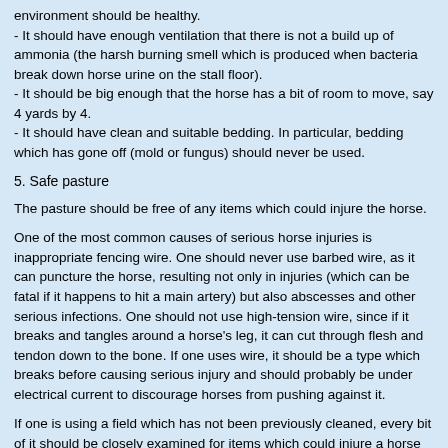environment should be healthy.
- It should have enough ventilation that there is not a build up of ammonia (the harsh burning smell which is produced when bacteria break down horse urine on the stall floor).
- It should be big enough that the horse has a bit of room to move, say 4 yards by 4.
- It should have clean and suitable bedding. In particular, bedding which has gone off (mold or fungus) should never be used.
5. Safe pasture
The pasture should be free of any items which could injure the horse.
One of the most common causes of serious horse injuries is inappropriate fencing wire. One should never use barbed wire, as it can puncture the horse, resulting not only in injuries (which can be fatal if it happens to hit a main artery) but also abscesses and other serious infections. One should not use high-tension wire, since if it breaks and tangles around a horse's leg, it can cut through flesh and tendon down to the bone. If one uses wire, it should be a type which breaks before causing serious injury and should probably be under electrical current to discourage horses from pushing against it.
If one is using a field which has not been previously cleaned, every bit of it should be closely examined for items which could injure a horse and such items removed. I've seen enough horses seriously injured from being put on an old farming field which had bits of fencing wire or pieces of machinery lying about. Likewise, holes (e.g. from burrowing animals) can result in a broken leg so should be filled in promptly. Similarly, broken branches or other objects lying around can result in